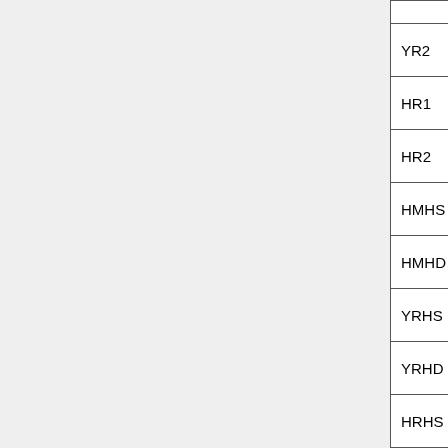| Keyword | Data Type | Value | Description |
| --- | --- | --- | --- |
|  |  | – |  |
| YR2 | Real*4 | uK_cmb | Y |
| HR1 | Real*4 | uK_cmb | H |
| HR2 | Real*4 | uK_cmb | H |
| HMHS | Real*4 | uK_cmb | H |
| HMHD | Real*4 | uK_cmb | H |
| YRHS | Real*4 | uK_cmb | Y |
| YRHD | Real*4 | uK_cmb | Y |
| HRHS | Real*4 | uK_cmb | H |
| HRHD | Real*4 | uK_cmb | H |
| MASK | BYTE |  | C |
| Keyword | Data Type | Value | D |
| AST-COMP | String | CMB | A |
| PIXTYPE | String | HEALPIX |  |
| COORDSYS | String | GALACTIC | C |
| POLCONV | String | COSMO | P |